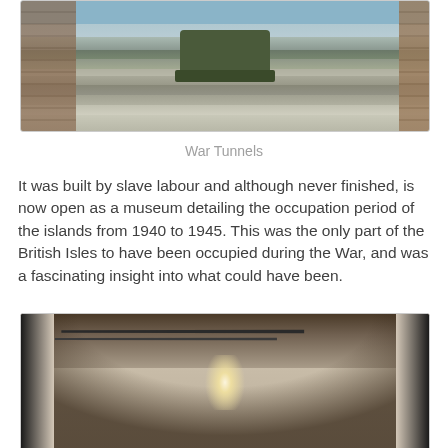[Figure (photo): Outdoor photo showing a military vehicle or equipment in a courtyard area with stone walls on either side, viewed from above]
War Tunnels
It was built by slave labour and although never finished, is now open as a museum detailing the occupation period of the islands from 1940 to 1945. This was the only part of the British Isles to have been occupied during the War, and was a fascinating insight into what could have been.
[Figure (photo): Interior photograph of a long underground tunnel with arched ceiling, pipes running along the top, and a bright light visible at the far end]